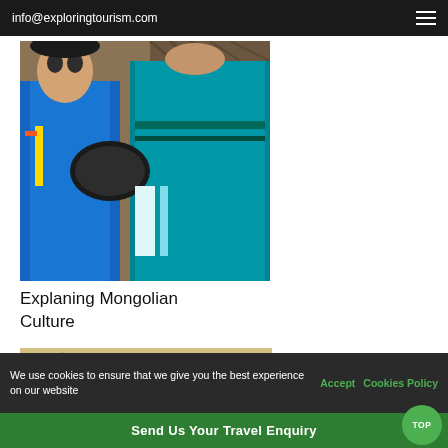info@exploringtourism.com
[Figure (photo): Two people in traditional Mongolian clothing (deel) inside a ger, one wearing blue and one wearing teal/green, with a decorative lattice wall in the background.]
Explaning Mongolian Culture
[Figure (photo): Person in traditional Mongolian ceremonial costume with horned hat riding or controlling yaks pulling a large wooden cart across a sandy plain.]
We use cookies to ensure that we give you the best experience on our website  Accept  Cookies Policy
Send Us Your Travel Enquiry